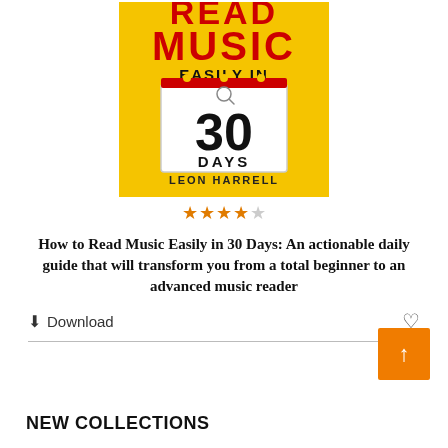[Figure (illustration): Book cover for 'How to Read Music Easily in 30 Days' by Leon Harrell. Yellow background with red text for READ MUSIC, black text for EASILY IN, and a tilted calendar page showing '30 DAYS'. Below the cover are four filled orange stars and one empty star.]
How to Read Music Easily in 30 Days: An actionable daily guide that will transform you from a total beginner to an advanced music reader
⬇ Download
NEW COLLECTIONS